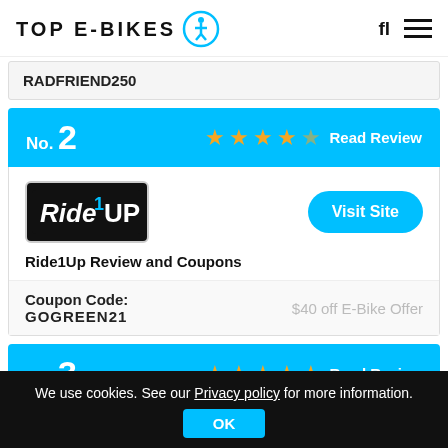TOP E-BIKES
RADFRIEND250
No. 2 ★★★★½ Read Review
[Figure (logo): Ride1Up brand logo, white text on black background]
Visit Site
Ride1Up Review and Coupons
Coupon Code: GOGREEN21
$40 off E-Bike Offer
No. 3 ★★★★★ Read Review
We use cookies. See our Privacy policy for more information. OK